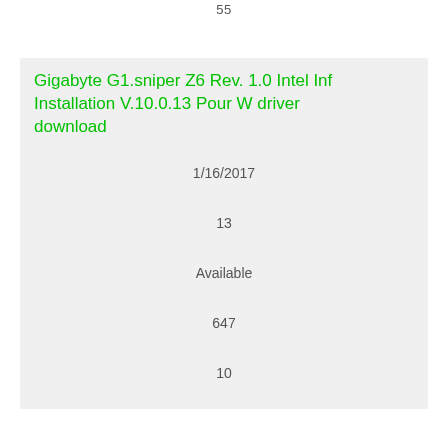55
Gigabyte G1.sniper Z6 Rev. 1.0 Intel Inf Installation V.10.0.13 Pour W driver download
1/16/2017
13
Available
647
10